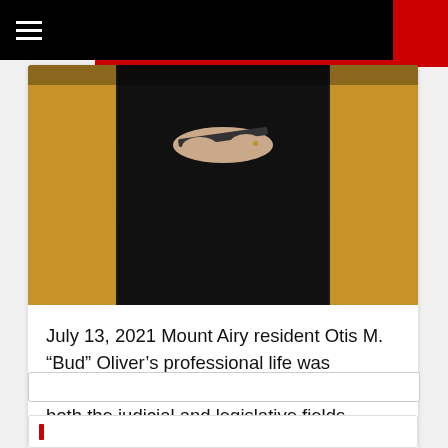Navigation bar with hamburger menu
[Figure (photo): Photo of a person in a black judicial robe against a yellow/golden background, holding what appears to be a book or folder]
July 13, 2021 Mount Airy resident Otis M. “Bud” Oliver’s professional life was somewhat unusual due to encompassing both the judicial and legislative fields — serving as a judge and in city government — but he was recalled Tuesday as excelling at both. “He was just a good man,” former […]